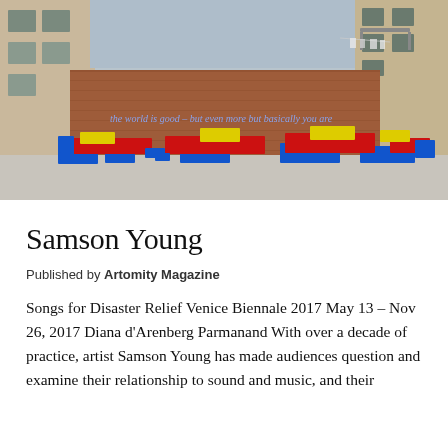[Figure (photo): Outdoor installation photograph showing colorful geometric foam/sculptural blocks in red, blue, and yellow arranged on a concrete ground in front of a brick wall. Blue neon script text is written across the brick wall. Behind the wall are multi-story residential buildings. The installation is 'Songs for Disaster Relief' by Samson Young at Venice Biennale 2017.]
Samson Young
Published by Artomity Magazine
Songs for Disaster Relief Venice Biennale 2017 May 13 – Nov 26, 2017 Diana d'Arenberg Parmanand With over a decade of practice, artist Samson Young has made audiences question and examine their relationship to sound and music, and their